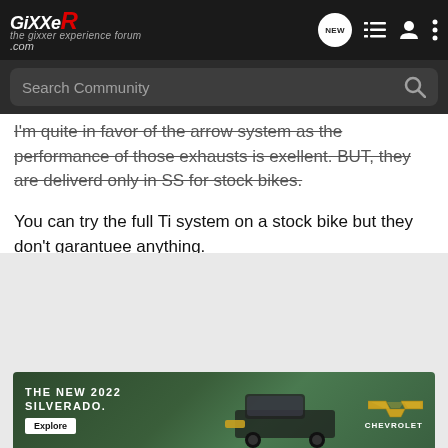GixxeR.com navigation bar with logo, NEW button, list icon, user icon, menu icon
Search Community
I'm quite in favor of the arrow system as the performance of those exhausts is exellent. BUT, they are deliverd only in SS for stock bikes.

You can try the full Ti system on a stock bike but they don't garantuee anything.
So I would like to hear how it performs.
[Figure (screenshot): Chevrolet advertisement banner: THE NEW 2022 SILVERADO. with an Explore button and Chevrolet logo, showing a truck in a field background]
THE NEW 2022 SILVERADO. Explore Chevrolet advertisement